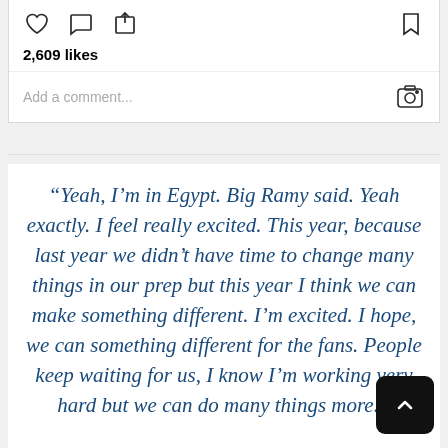[Figure (screenshot): Instagram post action bar with heart, comment, share icons on the left and bookmark icon on the right]
2,609 likes
Add a comment...
“Yeah, I’m in Egypt. Big Ramy said. Yeah exactly. I feel really excited. This year, because last year we didn’t have time to change many things in our prep but this year I think we can make something different. I’m excited. I hope, we can something different for the fans. People keep waiting for us, I know I’m working very hard but we can do many things more.”